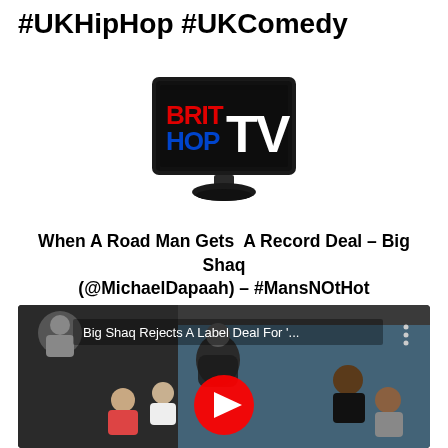#UKHipHop #UKComedy
[Figure (logo): BritHop TV logo — a black flat-screen television displaying 'BRIT HOP' in red and blue block letters with 'TV' in white, on a dark background]
When A Road Man Gets  A Record Deal – Big Shaq (@MichaelDapaah) – #MansNOtHot
[Figure (screenshot): YouTube video thumbnail showing Big Shaq Rejects A Label Deal For '... — scene from a talk show with multiple people seated, Big Shaq standing in a puffy jacket, red YouTube play button overlay in the center]